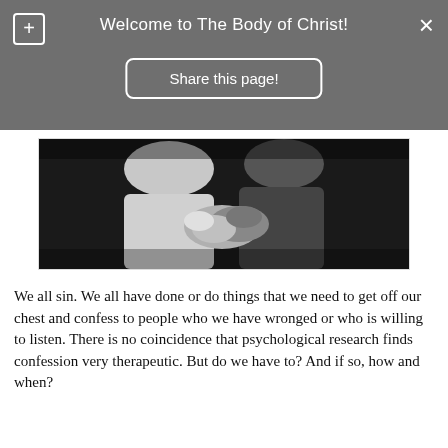Welcome to The Body of Christ!
[Figure (screenshot): Share this page button overlay on gray background with plus icon and close icon]
[Figure (photo): Black and white photograph showing clasped hands, partial figures in robes]
We all sin. We all have done or do things that we need to get off our chest and confess to people who we have wronged or who is willing to listen. There is no coincidence that psychological research finds confession very therapeutic. But do we have to? And if so, how and when?
No comments:
Who are YOU?